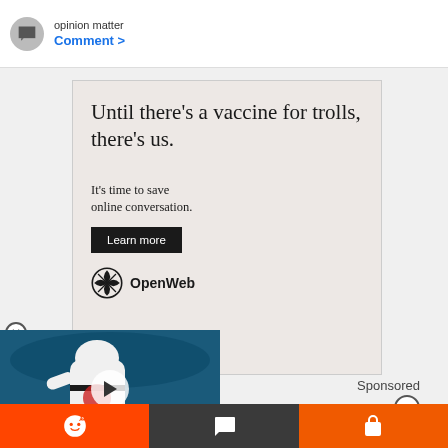opinion matter
Comment >
[Figure (screenshot): OpenWeb advertisement: 'Until there’s a vaccine for trolls, there’s us. It’s time to save online conversation. Learn more.' with OpenWeb logo on pinkish-beige background.]
Sponsored
[Figure (photo): Hockey player in Chicago Blackhawks white jersey, video thumbnail with play button overlay. Photo taken at an ice rink.]
[Figure (infographic): Bottom social sharing bar: Reddit (orange), Comment (dark gray), Share (orange).]